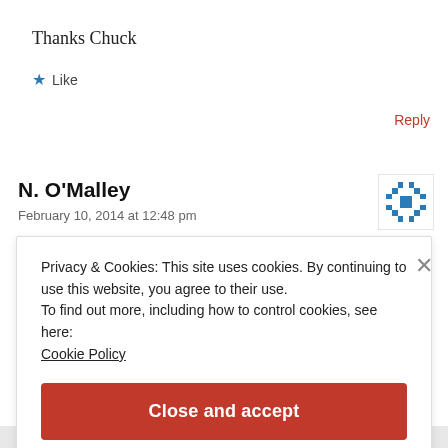Thanks Chuck
★ Like
Reply
N. O'Malley
February 10, 2014 at 12:48 pm
Privacy & Cookies: This site uses cookies. By continuing to use this website, you agree to their use.
To find out more, including how to control cookies, see here:
Cookie Policy
Close and accept